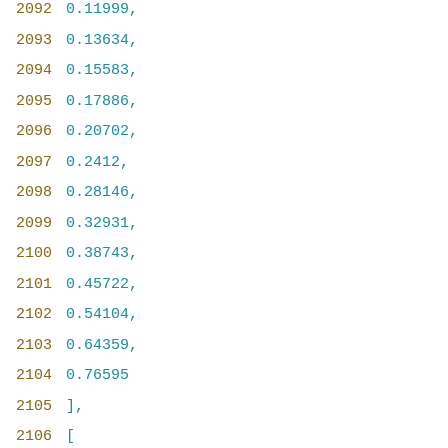2092    0.11999,
2093    0.13634,
2094    0.15583,
2095    0.17886,
2096    0.20702,
2097    0.2412,
2098    0.28146,
2099    0.32931,
2100    0.38743,
2101    0.45722,
2102    0.54104,
2103    0.64359,
2104    0.76595
2105    ],
2106    [
2107        0.0375,
2108        0.04891,
2109        0.05112,
2110        0.05382,
2111        0.05708,
2112        0.06095,
2113        0.06552,